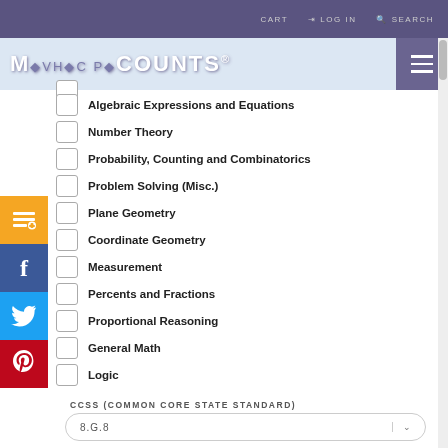CART  LOG IN  SEARCH
MATHCOUNTS
Algebraic Expressions and Equations
Number Theory
Probability, Counting and Combinatorics
Problem Solving (Misc.)
Plane Geometry
Coordinate Geometry
Measurement
Percents and Fractions
Proportional Reasoning
General Math
Logic
CCSS (COMMON CORE STATE STANDARD)
8.G.8